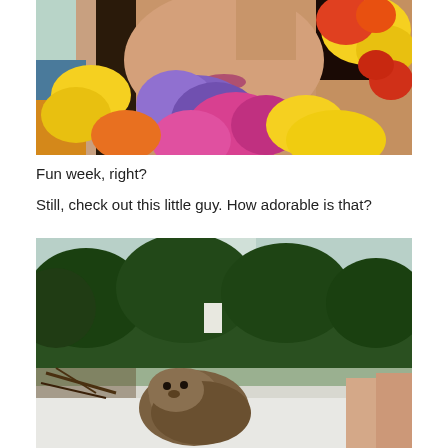[Figure (photo): Close-up photo of a young woman wearing colorful Hawaiian leis (flower garlands) in yellow, purple, pink, red, and orange. She has her hand raised near her face and appears to be posing.]
Fun week, right?
Still, check out this little guy. How adorable is that?
[Figure (photo): Outdoor photo showing a small animal (appears to be a groundhog or woodchuck) in the foreground on what looks like a white surface, with trees and greenery in the background. A person's arm is visible on the right side.]